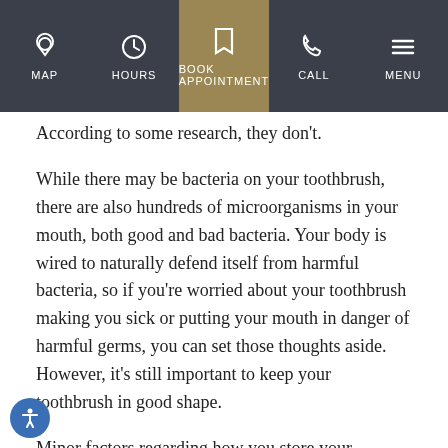[Figure (screenshot): Mobile navigation bar with MAP, HOURS, BOOK APPOINTMENT (highlighted in gold), CALL, and MENU options with icons]
According to some research, they don't.
While there may be bacteria on your toothbrush, there are also hundreds of microorganisms in your mouth, both good and bad bacteria. Your body is wired to naturally defend itself from harmful bacteria, so if you're worried about your toothbrush making you sick or putting your mouth in danger of harmful germs, you can set those thoughts aside. However, it's still important to keep your toothbrush in good shape.
Minor factors regarding how you store your toothbrush can help make sure that you're not putting something harmful into your mouth each day. Always rinse your toothbrush after brushing and allow it to dry out before using it again. While toothbrush covers might be good for travel, don't use one when you don't have to, as it can trap moisture and